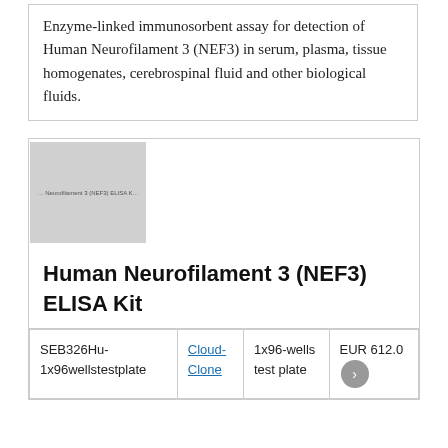Enzyme-linked immunosorbent assay for detection of Human Neurofilament 3 (NEF3) in serum, plasma, tissue homogenates, cerebrospinal fluid and other biological fluids.
[Figure (photo): Product image placeholder for Human Neurofilament 3 (NEF3) ELISA Kit, shown as a grey box with faint text label]
Human Neurofilament 3 (NEF3) ELISA Kit
| SEB326Hu-1x96wellstestplate | Cloud-Clone | 1x96-wells test plate | EUR 612.05 |